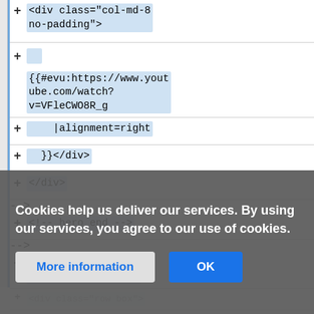[Figure (screenshot): Code editor view showing HTML code rows with blue highlighted code snippets and a + expand button on the left side of each row. Rows include: div class col-md-8 no-padding, {{#evu:https://www.youtube.com/watch?v=VFleCWO8R_g, |alignment=right, }}</div>, </div>, <!-- hero end -->, <!-- content 3-col boxes start -->, and partially visible rows below.]
Cookies help us deliver our services. By using our services, you agree to our use of cookies.
More information
OK